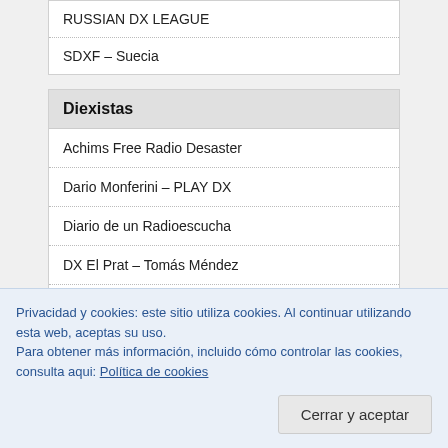RUSSIAN DX LEAGUE
SDXF – Suecia
Diexistas
Achims Free Radio Desaster
Dario Monferini – PLAY DX
Diario de un Radioescucha
DX El Prat – Tomás Méndez
DX GARRAF
Privacidad y cookies: este sitio utiliza cookies. Al continuar utilizando esta web, aceptas su uso.
Para obtener más información, incluido cómo controlar las cookies, consulta aqui: Política de cookies
Cerrar y aceptar